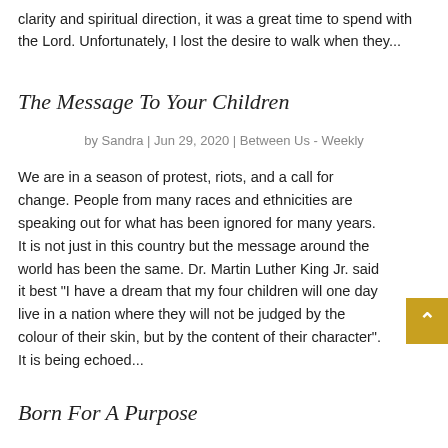clarity and spiritual direction, it was a great time to spend with the Lord. Unfortunately, I lost the desire to walk when they...
The Message To Your Children
by Sandra | Jun 29, 2020 | Between Us - Weekly
We are in a season of protest, riots, and a call for change. People from many races and ethnicities are speaking out for what has been ignored for many years. It is not just in this country but the message around the world has been the same. Dr. Martin Luther King Jr. said it best "I have a dream that my four children will one day live in a nation where they will not be judged by the colour of their skin, but by the content of their character". It is being echoed...
Born For A Purpose